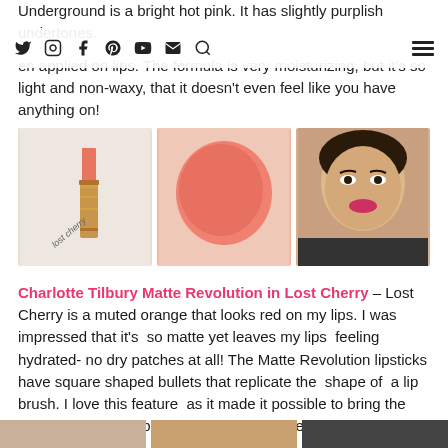Underground is a bright hot pink. It has slightly purplish undertones.
Navigation bar with social icons: Twitter, Instagram, Facebook, Pinterest, YouTube, Email, Search, and hamburger menu
en applied on lips. The formula is very moisturizing, but it's so light and non-waxy, that it doesn't even feel like you have anything on!
[Figure (photo): Three side-by-side photos: a Charlotte Tilbury lipstick bullet labeled 'lost cherry' in gold packaging, a close-up skin swatch of a coral-pink color, and a woman's face wearing the lipstick.]
Charlotte Tilbury Matte Revolution in Lost Cherry – Lost Cherry is a muted orange that looks red on my lips. I was impressed that it's so matte yet leaves my lips feeling hydrated- no dry patches at all! The Matte Revolution lipsticks have square shaped bullets that replicate the shape of a lip brush. I love this feature as it made it possible to bring the lipstick right to the border of my lips, for the most coverage possible.
[Figure (photo): Bottom strip showing three partial photos of additional lipstick shades]